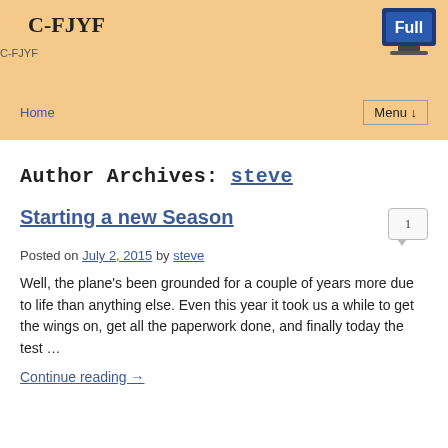C-FJYF
[Figure (screenshot): Full badge icon - blue laptop/screen icon with 'Full' text]
[Figure (logo): C-FJYF logo image placeholder]
Home | Menu ↓
Author Archives: steve
Starting a new Season
Posted on July 2, 2015 by steve
Well, the plane's been grounded for a couple of years more due to life than anything else. Even this year it took us a while to get the wings on, get all the paperwork done, and finally today the test …
Continue reading →